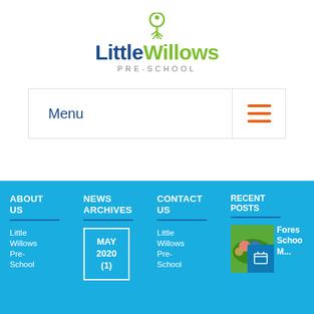[Figure (logo): Little Willows Pre-School logo with green lightbulb/tree icon and blue/green wordmark]
Menu
ABOUT US
NEWS ARCHIVES
CONTACT US
RECENT POSTS
Little Willows Pre-School
MAY 2020 (1)
Little Willows Pre-School
[Figure (photo): Children in colorful outdoor clothing sitting together in a grassy area]
Forest School M...